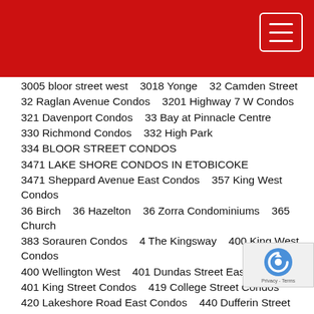3005 bloor street west    3018 Yonge    32 Camden Street
32 Raglan Avenue Condos    3201 Highway 7 W Condos
321 Davenport Condos    33 Bay at Pinnacle Centre
330 Richmond Condos    332 High Park
334 BLOOR STREET CONDOS
3471 LAKE SHORE CONDOS IN ETOBICOKE
3471 Sheppard Avenue East Condos    357 King West Condos
36 Birch    36 Hazelton    36 Zorra Condominiums    365 Church
383 Sorauren Condos    4 The Kingsway    400 King West Condos
400 Wellington West    401 Dundas Street East Condos
401 King Street Condos    419 College Street Condos
420 Lakeshore Road East Condos    440 Dufferin Street
4415 Sheppard Avenue East Condos    456 Shaw Street and Mews
457 Richmond Street West    46 Park Street East Condos
470 Wilson Condos    4700 Bathurst Street Condos
4800 Yonge Street Condo    490 St Clair West Condos
50 at Wellesley Station Condos    50 Scollard Condos
500 Wellington West    50-52 Neptune Drive
506 CHURCH STREET CONDOS    520 Richmond Condos
53 Sheppard west condos    530 St Clair Ave West
543 Richmond Condos    55 Charles East    550 Wellington We…
55C Condos    57 Brock Condos    571 Prince Edward Condos